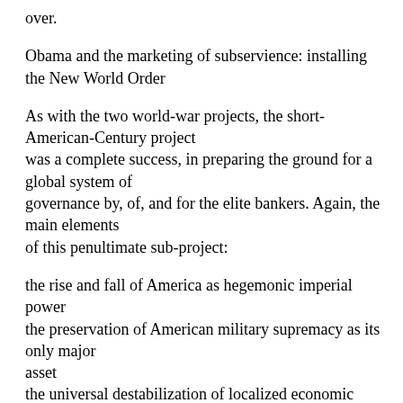over.
Obama and the marketing of subservience: installing the New World Order
As with the two world-war projects, the short-American-Century project was a complete success, in preparing the ground for a global system of governance by, of, and for the elite bankers. Again, the main elements of this penultimate sub-project:
the rise and fall of America as hegemonic imperial power
the preservation of American military supremacy as its only major asset
the universal destabilization of localized economic systems
a worldwide extended boom-bust cycle, ending with most of the world destitute and hopelessly in debt
To be more precise, the destitution and hopelessness are only now beginning to unfold. We've seen the first wave of business